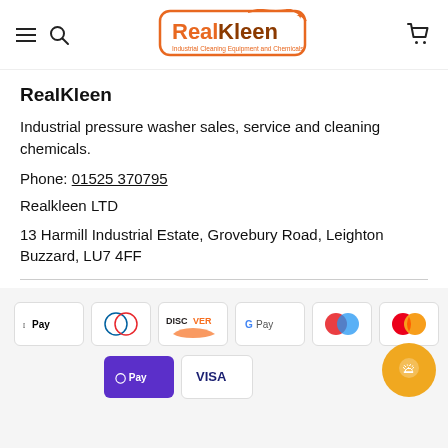[Figure (logo): RealKleen logo — orange rounded rectangle with 'Real' in orange and 'Kleen' in dark brown/orange, subtitle 'Industrial Cleaning Equipment and Chemicals']
RealKleen
Industrial pressure washer sales, service and cleaning chemicals.
Phone: 01525 370795
Realkleen LTD
13 Harmill Industrial Estate, Grovebury Road, Leighton Buzzard, LU7 4FF
[Figure (other): Payment method icons: Apple Pay, Diners Club, Discover, Google Pay, Maestro, Mastercard, O Pay, Visa]